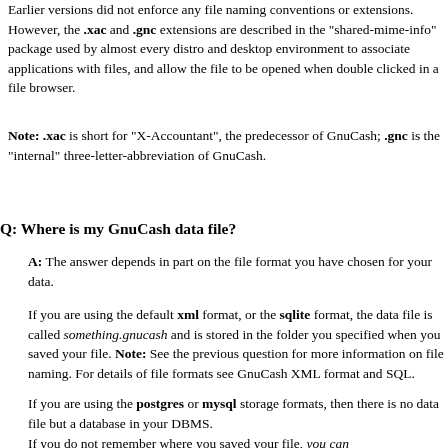Earlier versions did not enforce any file naming conventions or extensions. However, the .xac and .gnc extensions are described in the "shared-mime-info" package used by almost every distro and desktop environment to associate applications with files, and allow the file to be opened when double clicked in a file browser.
Note: .xac is short for "X-Accountant", the predecessor of GnuCash; .gnc is the "internal" three-letter-abbreviation of GnuCash.
Q: Where is my GnuCash data file?
A: The answer depends in part on the file format you have chosen for your data.
If you are using the default xml format, or the sqlite format, the data file is called something.gnucash and is stored in the folder you specified when you saved your file. Note: See the previous question for more information on file naming. For details of file formats see GnuCash XML format and SQL.
If you are using the postgres or mysql storage formats, then there is no data file but a database in your DBMS.
If you do not remember where you saved your file, you can